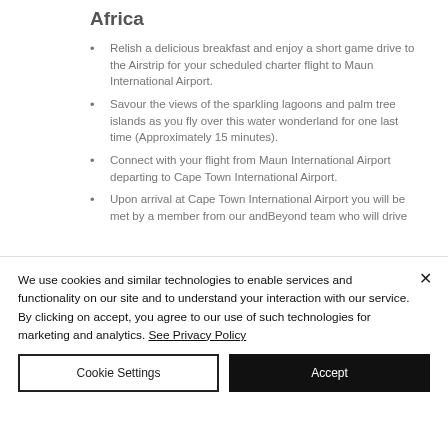Africa
Relish a delicious breakfast and enjoy a short game drive to the Airstrip for your scheduled charter flight to Maun International Airport.
Savour the views of the sparkling lagoons and palm tree islands as you fly over this water wonderland for one last time (Approximately 15 minutes).
Connect with your flight from Maun International Airport departing to Cape Town International Airport.
Upon arrival at Cape Town International Airport you will be met by a member from our andBeyond team who will drive
We use cookies and similar technologies to enable services and functionality on our site and to understand your interaction with our service. By clicking on accept, you agree to our use of such technologies for marketing and analytics. See Privacy Policy